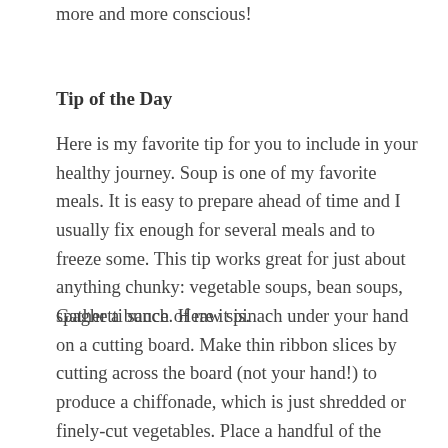more and more conscious!
Tip of the Day
Here is my favorite tip for you to include in your healthy journey. Soup is one of my favorite meals. It is easy to prepare ahead of time and I usually fix enough for several meals and to freeze some. This tip works great for just about anything chunky: vegetable soups, bean soups, spaghetti sauce. Here it is.
Gather a bunch of raw spinach under your hand on a cutting board. Make thin ribbon slices by cutting across the board (not your hand!) to produce a chiffonade, which is just shredded or finely-cut vegetables. Place a handful of the spinach in a bowl before adding your soup or beans, or on top of your pasta before adding